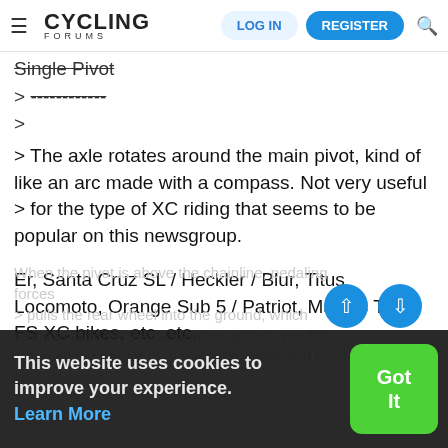CYCLING FORUMS — LOG IN | REGISTER
> Single Pivot
> ------------
>
> The axle rotates around the main pivot, kind of like an arc made with a compass. Not very useful
> for the type of XC riding that seems to be popular on this newsgroup.
Er, Santa Cruz SL / Heckler / Blur, Titus Locomoto, Orange Sub 5 / Patriot, Marin's Tara FS XC bikes, etc, etc.
When the pivot is above the chainline, pedaling forces
> pulls the rear wheel into the ground, which tends to lock out the suspension unless you hit
> something harder than the force generated by your pedaling.